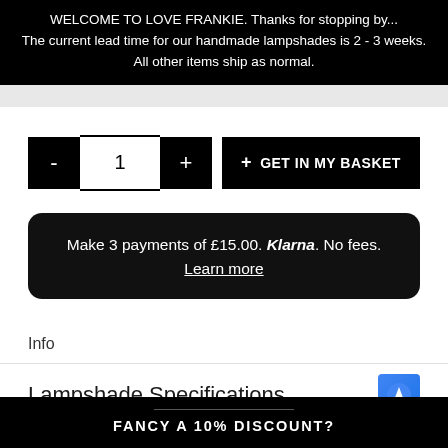WELCOME TO LOVE FRANKIE. Thanks for stopping... The current lead time for our handmade lampshades is 2 - 3 weeks. All other items ship as normal.
- 1 + GET IN MY BASKET
Make 3 payments of £15.00. Klarna. No fees. Learn more
Info
Lampshade Specifications
FANCY A 10% DISCOUNT?